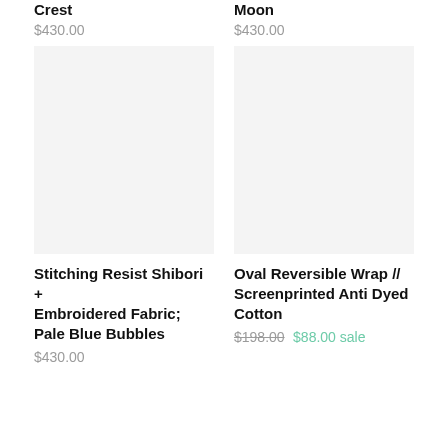Crest
$430.00
Moon
$430.00
[Figure (photo): Product image placeholder for Stitching Resist Shibori + Embroidered Fabric; Pale Blue Bubbles]
[Figure (photo): Product image placeholder for Oval Reversible Wrap // Screenprinted Anti Dyed Cotton]
Stitching Resist Shibori + Embroidered Fabric; Pale Blue Bubbles
$430.00
Oval Reversible Wrap // Screenprinted Anti Dyed Cotton
$198.00 $88.00 sale